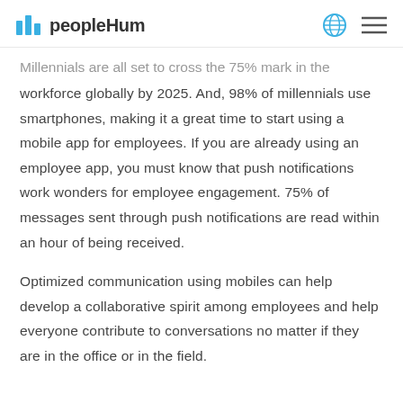peopleHum
Millennials are all set to cross the 75% mark in the workforce globally by 2025. And, 98% of millennials use smartphones, making it a great time to start using a mobile app for employees. If you are already using an employee app, you must know that push notifications work wonders for employee engagement. 75% of messages sent through push notifications are read within an hour of being received.
Optimized communication using mobiles can help develop a collaborative spirit among employees and help everyone contribute to conversations no matter if they are in the office or in the field.